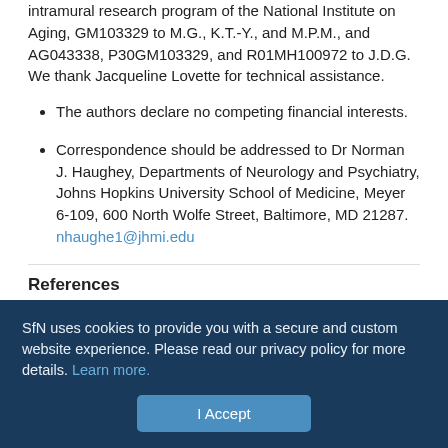intramural research program of the National Institute on Aging, GM103329 to M.G., K.T.-Y., and M.P.M., and AG043338, P30GM103329, and R01MH100972 to J.D.G. We thank Jacqueline Lovette for technical assistance.
The authors declare no competing financial interests.
Correspondence should be addressed to Dr Norman J. Haughey, Departments of Neurology and Psychiatry, Johns Hopkins University School of Medicine, Meyer 6-109, 600 North Wolfe Street, Baltimore, MD 21287. nhaughe1@jhmi.edu
References
Achim CL, Adame A, Dumaop W, Everall IP, Masliah E (2009) Increased accumulation of intraneuronal amyloid beta in HIV-infected patients. J
SfN uses cookies to provide you with a secure and custom website experience. Please read our privacy policy for more details. Learn more.